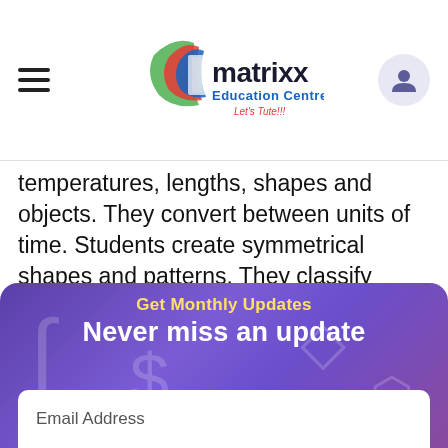[Figure (logo): Matrixx Education Centre logo with colorful swoosh and text 'Let's Tute!!!']
temperatures, lengths, shapes and objects. They convert between units of time. Students create symmetrical shapes and patterns. They classify angles in relation to a right angle. Students list the probabilities of everyday events. They construct data displays from given or collected data.
[Figure (infographic): Get Monthly Updates banner with purple gradient background, subtitle 'Get Monthly Updates', title 'Never miss an update', and an email address input field.]